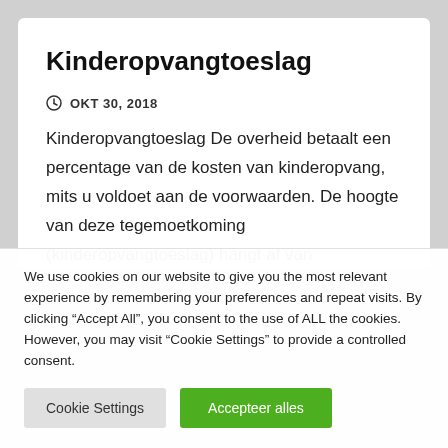Kinderopvangtoeslag
OKT 30, 2018
Kinderopvangtoeslag De overheid betaalt een percentage van de kosten van kinderopvang, mits u voldoet aan de voorwaarden. De hoogte van deze tegemoetkoming (kinderopvangtoeslag) hangt af van
We use cookies on our website to give you the most relevant experience by remembering your preferences and repeat visits. By clicking “Accept All”, you consent to the use of ALL the cookies. However, you may visit “Cookie Settings” to provide a controlled consent.